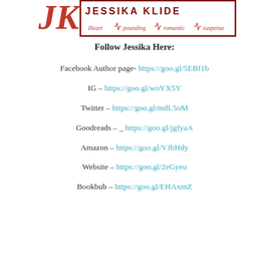[Figure (logo): Jessika Klide author logo with stylized JK initials in red and tagline 'Heart-pounding romantic suspense' with heartbeat line]
Follow Jessika Here:
Facebook Author page- https://goo.gl/5EBf1b
IG – https://goo.gl/woYX5Y
Twitter – https://goo.gl/mdL5oM
Goodreads – _ https://goo.gl/jgfyaA
Amazon – https://goo.gl/VJbHdy
Website – https://goo.gl/2eGyeu
Bookbub – https://goo.gl/EHAxmZ